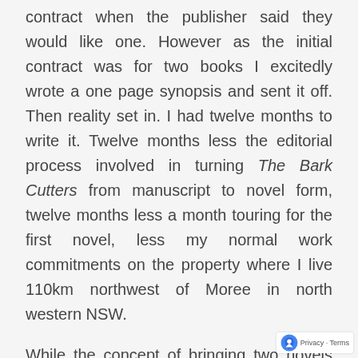contract when the publisher said they would like one. However as the initial contract was for two books I excitedly wrote a one page synopsis and sent it off. Then reality set in. I had twelve months to write it. Twelve months less the editorial process involved in turning The Bark Cutters from manuscript to novel form, twelve months less a month touring for the first novel, less my normal work commitments on the property where I live 110km northwest of Moree in north western NSW.
While the concept of bringing two novels out in quick succession in order to cement your reading audience makes perfect sense from a marketing perspective from the author's perspective